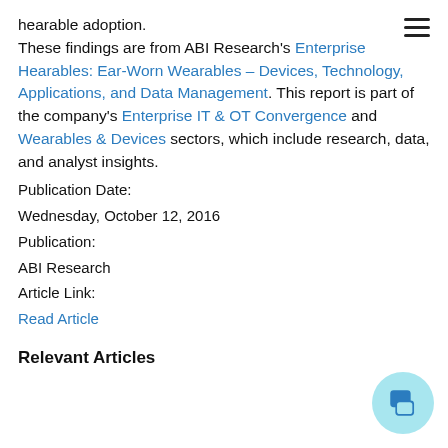hearable adoption. These findings are from ABI Research's Enterprise Hearables: Ear-Worn Wearables – Devices, Technology, Applications, and Data Management. This report is part of the company's Enterprise IT & OT Convergence and Wearables & Devices sectors, which include research, data, and analyst insights.
Publication Date:
Wednesday, October 12, 2016
Publication:
ABI Research
Article Link:
Read Article
Relevant Articles